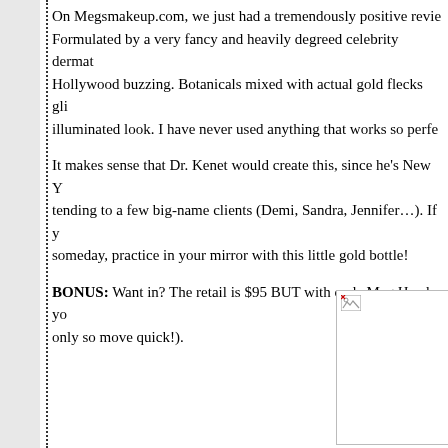On Megsmakeup.com, we just had a tremendously positive review. Formulated by a very fancy and heavily degreed celebrity dermat... Hollywood buzzing. Botanicals mixed with actual gold flecks gli... illuminated look. I have never used anything that works so perfe...
It makes sense that Dr. Kenet would create this, since he's New Y... tending to a few big-name clients (Demi, Sandra, Jennifer…). If y... someday, practice in your mirror with this little gold bottle!
BONUS: Want in? The retail is $95 BUT with code Meg Head yo... only so move quick!).
[Figure (photo): Broken image placeholder showing a small broken image icon in the top-left corner of a white rectangle with a thin gray border.]